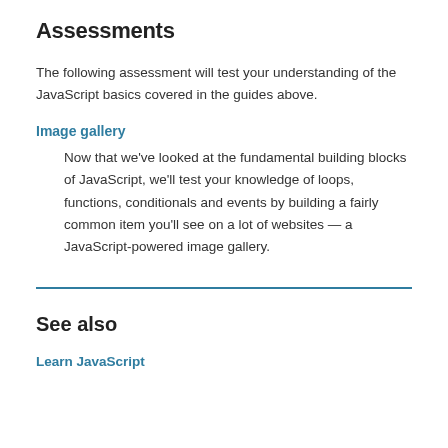Assessments
The following assessment will test your understanding of the JavaScript basics covered in the guides above.
Image gallery
Now that we've looked at the fundamental building blocks of JavaScript, we'll test your knowledge of loops, functions, conditionals and events by building a fairly common item you'll see on a lot of websites — a JavaScript-powered image gallery.
See also
Learn JavaScript